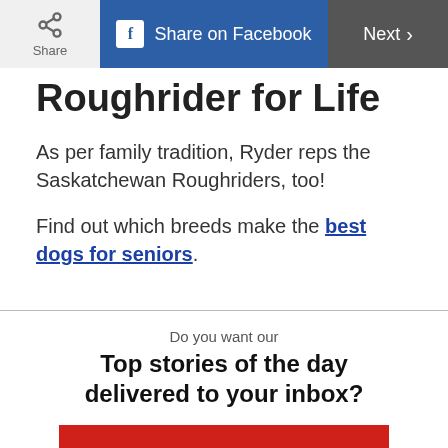Share | Share on Facebook | Next >
Roughrider for Life
As per family tradition, Ryder reps the Saskatchewan Roughriders, too!
Find out which breeds make the best dogs for seniors.
Do you want our
Top stories of the day delivered to your inbox?
YES PLEASE!
NO THANKS